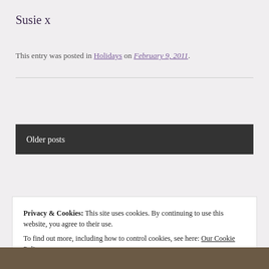Susie x
This entry was posted in Holidays on February 9, 2011.
Older posts
Privacy & Cookies: This site uses cookies. By continuing to use this website, you agree to their use.
To find out more, including how to control cookies, see here: Our Cookie Policy
Close and accept